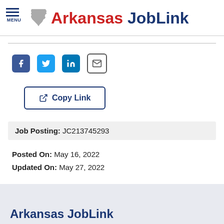MENU Arkansas JobLink
[Figure (other): Social sharing icons: Facebook, Twitter, LinkedIn, Email]
Copy Link
Job Posting: JC213745293
Posted On: May 16, 2022
Updated On: May 27, 2022
Arkansas JobLink